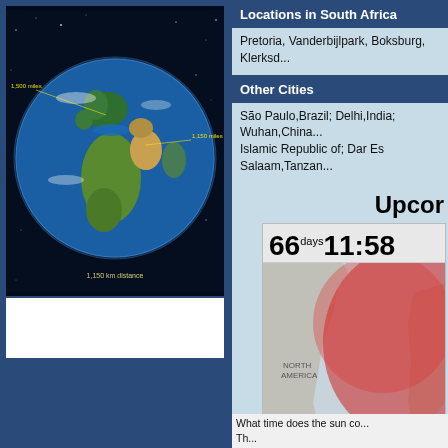[Figure (illustration): 3D globe showing Earth from space with dark background, stars visible, showing Europe/Africa/Middle East view with yellow distance indicators]
Locations in South Africa
Pretoria, Vanderbijlpark, Boksburg, Klerksd...
Other Cities
São Paulo,Brazil; Delhi,India; Wuhan,China... Islamic Republic of; Dar Es Salaam,Tanzan...
Upcor
[Figure (map): Eclipse map showing North America, South America, Africa with red coverage zone overlay showing solar eclipse path for 2022]
Sun Eclipse 2022 over E...
What time does the sun co... Th...